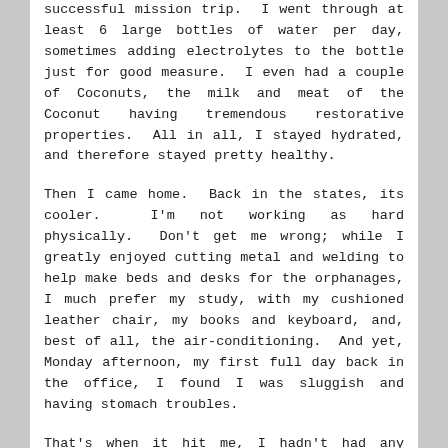successful mission trip.  I went through at least 6 large bottles of water per day, sometimes adding electrolytes to the bottle just for good measure.  I even had a couple of Coconuts, the milk and meat of the Coconut having tremendous restorative properties.  All in all, I stayed hydrated, and therefore stayed pretty healthy.
Then I came home.  Back in the states, its cooler.  I'm not working as hard physically.  Don't get me wrong; while I greatly enjoyed cutting metal and welding to help make beds and desks for the orphanages, I much prefer my study, with my cushioned leather chair, my books and keyboard, and, best of all, the air-conditioning.  And yet, Monday afternoon, my first full day back in the office, I found I was sluggish and having stomach troubles.
That's when it hit me, I hadn't had any water all day.  There was the cup of coffee early in the morning, but other than that, no fluids all day long.  I had gone from almost 200 fl. oz. of water a day in Haiti to about 6 fl. oz. in Iowa.  I was unintentionally dehydrating myself.  Why would I think that if I needed so much water there, I